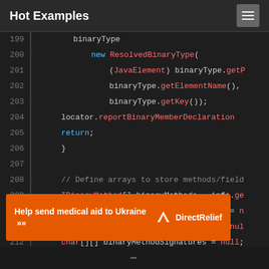Hot Examples
[Figure (screenshot): Code editor showing Java source code lines 199-213 with syntax highlighting on dark background]
[Figure (infographic): Orange banner advertisement: 'Help send medical aid to Ukraine >> DirectRelief']